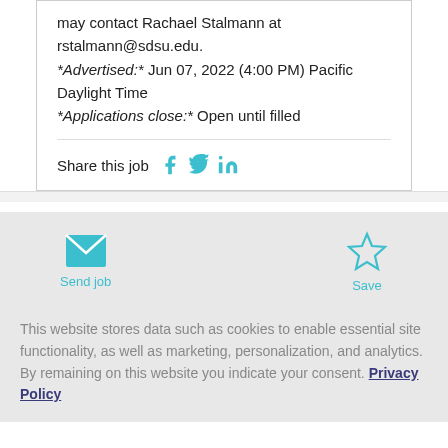may contact Rachael Stalmann at rstalmann@sdsu.edu.
*Advertised:* Jun 07, 2022 (4:00 PM) Pacific Daylight Time
*Applications close:* Open until filled
Share this job
Send job
Save
This website stores data such as cookies to enable essential site functionality, as well as marketing, personalization, and analytics. By remaining on this website you indicate your consent. Privacy Policy